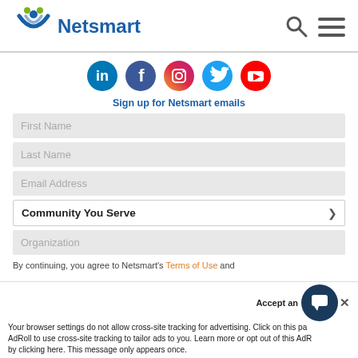Netsmart
[Figure (logo): Netsmart logo with icon and wordmark]
[Figure (illustration): Social media icons: LinkedIn, Facebook, Instagram, Twitter, YouTube]
Sign up for Netsmart emails
First Name
Last Name
Email Address
Community You Serve
Organization
By continuing, you agree to Netsmart's Terms of Use and
Your browser settings do not allow cross-site tracking for advertising. Click on this page to allow AdRoll to use cross-site tracking to tailor ads to you. Learn more or opt out of this AdRoll tracking by clicking here. This message only appears once.